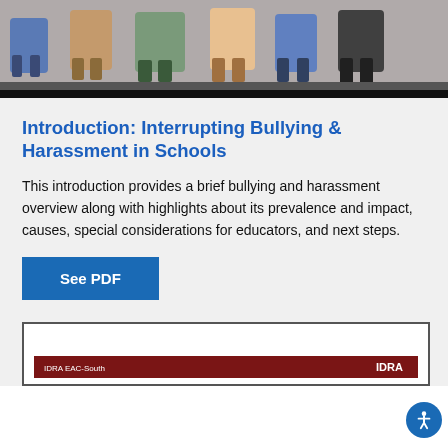[Figure (photo): Photo of a group of people sitting together, partially visible from waist down, with light background. A dark/black bar runs below the photo.]
Introduction: Interrupting Bullying & Harassment in Schools
This introduction provides a brief bullying and harassment overview along with highlights about its prevalence and impact, causes, special considerations for educators, and next steps.
See PDF
[Figure (screenshot): Preview of a PDF document with a dark red bar at the bottom showing 'IDRA EAC-South' label and 'IDRA' logo in white text.]